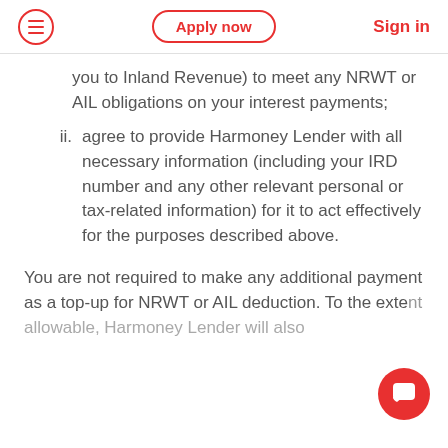Apply now  Sign in
you to Inland Revenue) to meet any NRWT or AIL obligations on your interest payments;
ii. agree to provide Harmoney Lender with all necessary information (including your IRD number and any other relevant personal or tax-related information) for it to act effectively for the purposes described above.
You are not required to make any additional payment as a top-up for NRWT or AIL deduction. To the extent allowable, Harmoney Lender will also